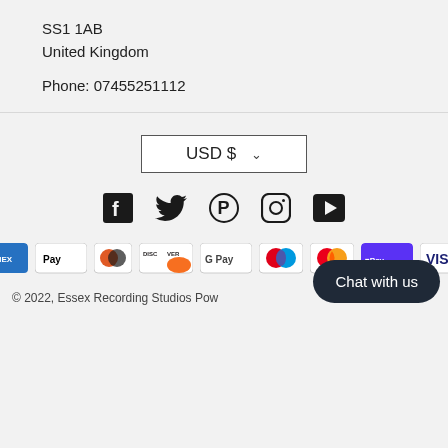SS1 1AB
United Kingdom
Phone: 07455251112
USD $ ▾
[Figure (infographic): Social media icons: Facebook, Twitter, Pinterest, Instagram, YouTube]
[Figure (infographic): Payment method icons: American Express, Apple Pay, Diners Club, Discover, Google Pay, Maestro, Mastercard, Shop Pay, Visa]
© 2022, Essex Recording Studios Pow...
Chat with us